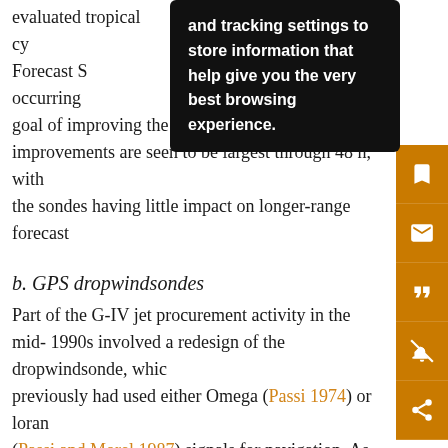evaluated tropical cy[clone] [Gl]obal Forecast S[ystem] occurring [wi]th th[e] goal of improving the watch–warning process, improvements are seen to be largest through 48 h, with the sondes having little impact on longer-range forecast
[Figure (screenshot): Browser tooltip overlay with black background showing text: 'and tracking settings to store information that help give you the very best browsing experience.']
b. GPS dropwindsondes
Part of the G-IV jet procurement activity in the mid-1990s involved a redesign of the dropwindsonde, which previously had used either Omega (Passi 1974) or loran (Passi and Morel 1987) signals for navigation. As loran signals were only available near land, and the Omega network was being phased out, a new wind-finding solution was required. In an effort partially funded by